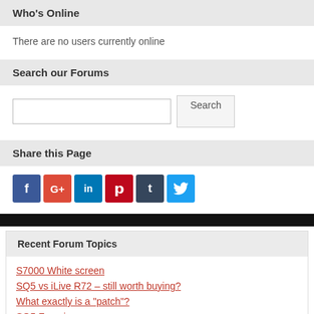Who's Online
There are no users currently online
Search our Forums
[Figure (screenshot): Search input box with a Search button]
Share this Page
[Figure (infographic): Social media share icons: Facebook, Google+, LinkedIn, Pinterest, Tumblr, Twitter]
Recent Forum Topics
S7000 White screen
SQ5 vs iLive R72 – still worth buying?
What exactly is a "patch"?
SQ5 Freezing
QU SR reliability